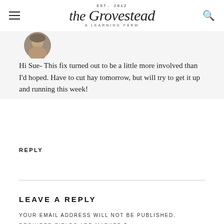EST. 2012 the Grovestead A LEARNING FARM
[Figure (photo): Circular avatar photo of a person, partially cropped at top]
Hi Sue- This fix turned out to be a little more involved than I'd hoped. Have to cut hay tomorrow, but will try to get it up and running this week!
REPLY
LEAVE A REPLY
YOUR EMAIL ADDRESS WILL NOT BE PUBLISHED. REQUIRED FIELDS ARE MARKED *